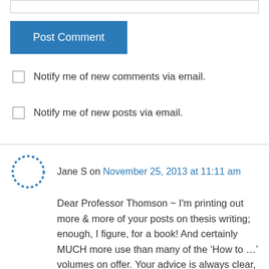[Figure (other): Text input field (top border visible)]
Post Comment
Notify me of new comments via email.
Notify me of new posts via email.
Jane S on November 25, 2013 at 11:11 am
Dear Professor Thomson ~ I'm printing out more & more of your posts on thesis writing; enough, I figure, for a book! And certainly MUCH more use than many of the ‘How to …’ volumes on offer. Your advice is always clear, cogent and concise – very relevant for researchers, sciences or A&H, who experience (frequent) dips into the